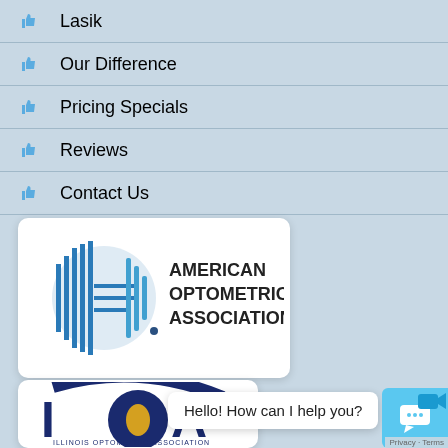Lasik
Our Difference
Pricing Specials
Reviews
Contact Us
[Figure (logo): American Optometric Association logo with circular bar-pattern eye icon and text]
[Figure (logo): Illinois Optometric Association (IOA) logo with circular eye design and Illinois state outline]
Hello! How can I help you?